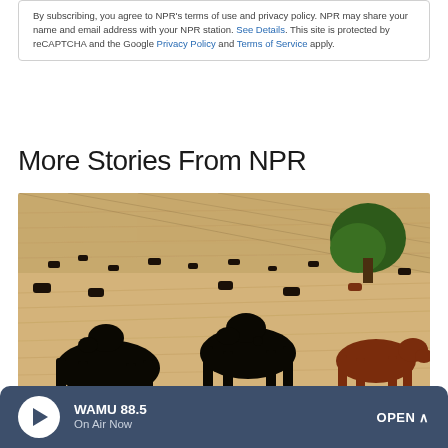By subscribing, you agree to NPR's terms of use and privacy policy. NPR may share your name and email address with your NPR station. See Details. This site is protected by reCAPTCHA and the Google Privacy Policy and Terms of Service apply.
More Stories From NPR
[Figure (photo): Black and brown cattle grazing on a dry golden field with a tree in the background]
WAMU 88.5 On Air Now OPEN